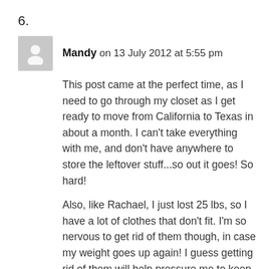6.
Mandy on 13 July 2012 at 5:55 pm
This post came at the perfect time, as I need to go through my closet as I get ready to move from California to Texas in about a month. I can't take everything with me, and don't have anywhere to store the leftover stuff...so out it goes! So hard!
Also, like Rachael, I just lost 25 lbs, so I have a lot of clothes that don't fit. I'm so nervous to get rid of them though, in case my weight goes up again! I guess getting rid of them will help pressure me to keep off the weight? Right?